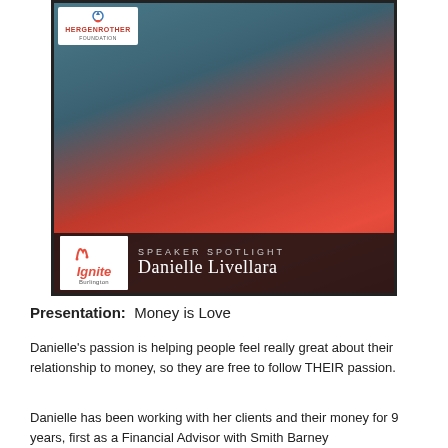[Figure (photo): Speaker Spotlight photo of Danielle Livellara wearing a red top, smiling. Top-left shows Hergenrother Foundation logo. Bottom bar shows Ignite Burlington logo, 'SPEAKER SPOTLIGHT' text, and 'Danielle Livellara' name.]
Presentation:  Money is Love
Danielle’s passion is helping people feel really great about their relationship to money, so they are free to follow THEIR passion.
Danielle has been working with her clients and their money for 9 years, first as a Financial Advisor with Smith Barney